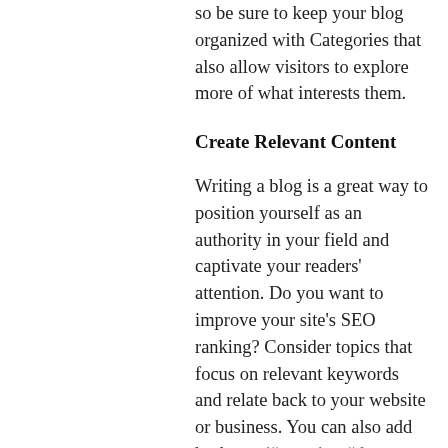so be sure to keep your blog organized with Categories that also allow visitors to explore more of what interests them.
Create Relevant Content
Writing a blog is a great way to position yourself as an authority in your field and captivate your readers' attention. Do you want to improve your site's SEO ranking? Consider topics that focus on relevant keywords and relate back to your website or business. You can also add hashtags (#vacation #dream #summer) throughout your posts to reach more people, and help visitors search for relevant content. Blogging gives your site a voice, so let your business' personality shine through. Choose a great image to feature in your post or add